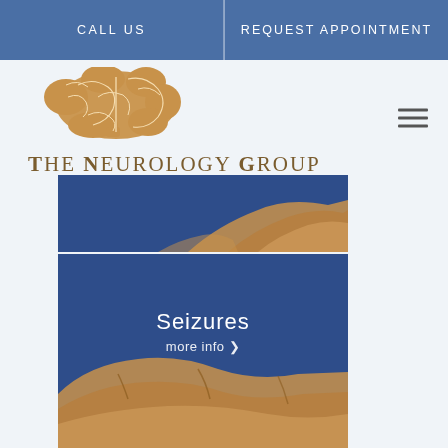CALL US | REQUEST APPOINTMENT
[Figure (logo): The Neurology Group logo with golden brain illustration above the text 'THE NEUROLOGY GROUP']
THE NEUROLOGY GROUP
[Figure (illustration): Two stacked panels showing a dark blue background with sandy/golden rock formation illustration. The middle panel contains text 'Seizures' and 'more info' with arrow icon.]
Seizures
more info ❯